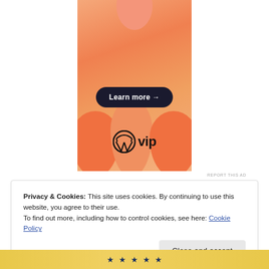[Figure (illustration): WordPress VIP advertisement banner with orange gradient background, abstract blob shapes, a 'Learn more →' button, and the WordPress VIP logo (W circle + 'vip' text)]
REPORT THIS AD
Privacy & Cookies: This site uses cookies. By continuing to use this website, you agree to their use.
To find out more, including how to control cookies, see here: Cookie Policy
Close and accept